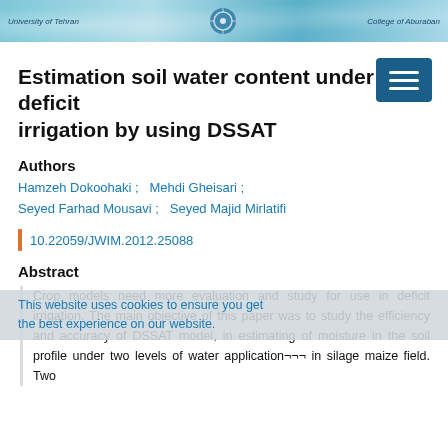University of Tehran | College of Aburaban
Estimation soil water content under deficit irrigation by using DSSAT
Authors
Hamzeh Dokoohaki ;   Mehdi Gheisari ;  Seyed Farhad Mousavi ;   Seyed Majid Mirlatifi
10.22059/JWIM.2012.25088
Abstract
Crop models need more evaluation and study for use in deficit irrigation. The main objective of this paper was to study the efficiency and accuracy of DSSAT model, in estimating of moisture in the soil profile under two levels of water application¬¬¬ in silage maize field. Two